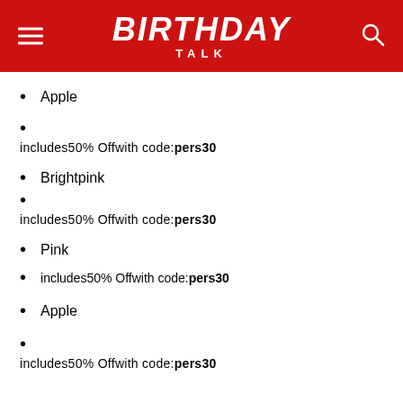BIRTHDAY TALK
Apple
includes50% Offwith code:pers30
Brightpink
includes50% Offwith code:pers30
Pink
includes50% Offwith code:pers30
Apple
includes50% Offwith code:pers30